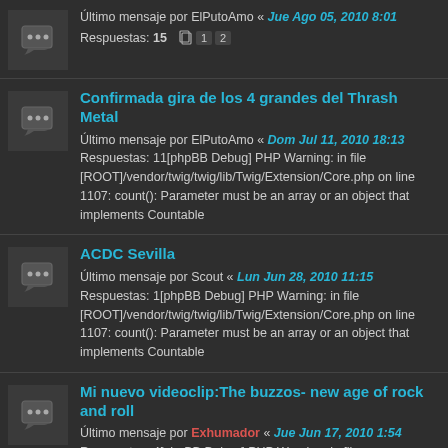Último mensaje por ElPutoAmo « Jue Ago 05, 2010 8:01
Respuestas: 15 [page nav: 1, 2]
Confirmada gira de los 4 grandes del Thrash Metal
Último mensaje por ElPutoAmo « Dom Jul 11, 2010 18:13
Respuestas: 11[phpBB Debug] PHP Warning: in file [ROOT]/vendor/twig/twig/lib/Twig/Extension/Core.php on line 1107: count(): Parameter must be an array or an object that implements Countable
ACDC Sevilla
Último mensaje por Scout « Lun Jun 28, 2010 11:15
Respuestas: 1[phpBB Debug] PHP Warning: in file [ROOT]/vendor/twig/twig/lib/Twig/Extension/Core.php on line 1107: count(): Parameter must be an array or an object that implements Countable
Mi nuevo videoclip:The buzzos- new age of rock and roll
Último mensaje por Exhumador « Jue Jun 17, 2010 1:54
Respuestas: 4[phpBB Debug] PHP Warning: in file